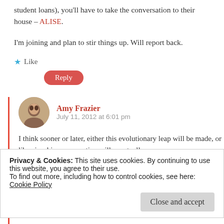student loans), you'll have to take the conversation to their house – ALISE.
I'm joining and plan to stir things up. Will report back.
Like
Reply
Amy Frazier
July 11, 2012 at 6:01 pm
I think sooner or later, either this evolutionary leap will be made, or librarianship as a vocation will eventually
Privacy & Cookies: This site uses cookies. By continuing to use this website, you agree to their use.
To find out more, including how to control cookies, see here:
Cookie Policy
Close and accept
technical as well. As it is today, we'd be more effective